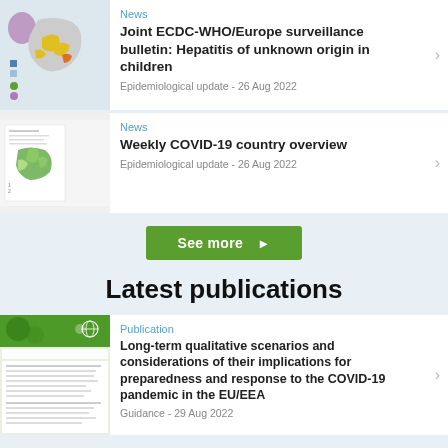News
Joint ECDC-WHO/Europe surveillance bulletin: Hepatitis of unknown origin in children
Epidemiological update - 26 Aug 2022
News
Weekly COVID-19 country overview
Epidemiological update - 26 Aug 2022
See more
Latest publications
Publication
Long-term qualitative scenarios and considerations of their implications for preparedness and response to the COVID-19 pandemic in the EU/EEA
Guidance - 29 Aug 2022